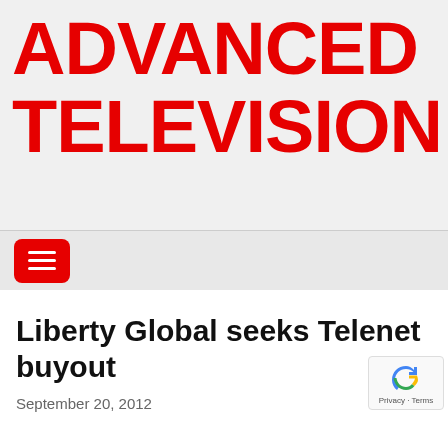ADVANCED TELEVISION
[Figure (other): Hamburger menu button, red rounded rectangle with three white lines]
Liberty Global seeks Telenet buyout
September 20, 2012